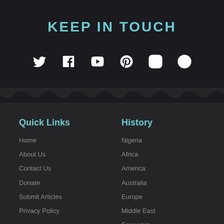KEEP IN TOUCH
[Figure (infographic): Social media icons: Twitter, Facebook, YouTube, Pinterest, Instagram, WhatsApp]
Quick Links
History
Home
About Us
Contact Us
Donate
Submit Articles
Privacy Policy
Nigeria
Africa
America
Australia
Europe
Middle East
Economic